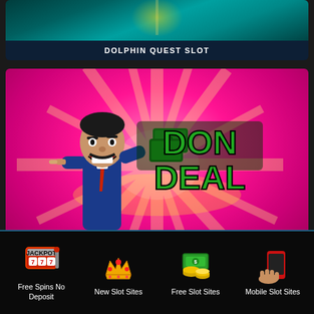[Figure (screenshot): Dolphin Quest Slot game card with teal/dark background partially visible at top]
DOLPHIN QUEST SLOT
[Figure (screenshot): Don Deal Slots game card with bright pink starburst background, cartoon mobster character holding a cigar on left, and 'DON DEAL' text in large green letters on right]
DON DEAL SLOTS
Free Spins No Deposit
New Slot Sites
Free Slot Sites
Mobile Slot Sites